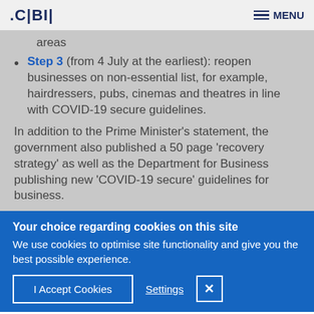.CBI| MENU
areas
Step 3 (from 4 July at the earliest): reopen businesses on non-essential list, for example, hairdressers, pubs, cinemas and theatres in line with COVID-19 secure guidelines.
In addition to the Prime Minister's statement, the government also published a 50 page 'recovery strategy' as well as the Department for Business publishing new 'COVID-19 secure' guidelines for business.
Your choice regarding cookies on this site
We use cookies to optimise site functionality and give you the best possible experience.
I Accept Cookies  Settings  ✕